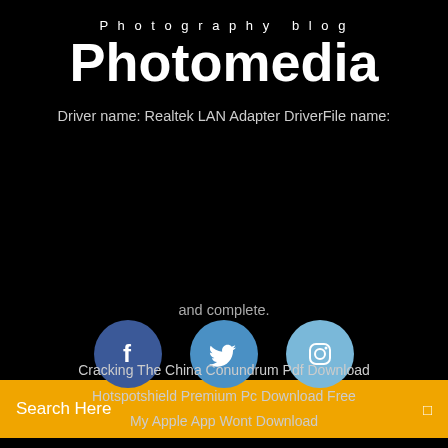Photography blog
Photomedia
Driver name: Realtek LAN Adapter DriverFile name:
Search Here
and complete.
[Figure (illustration): Three social media icons: Facebook (dark blue circle), Twitter (medium blue circle), Instagram (light blue circle)]
Cracking The China Conundrum Pdf Download
Hotspotshield Premium Pc Download Free
My Apple App Wont Download